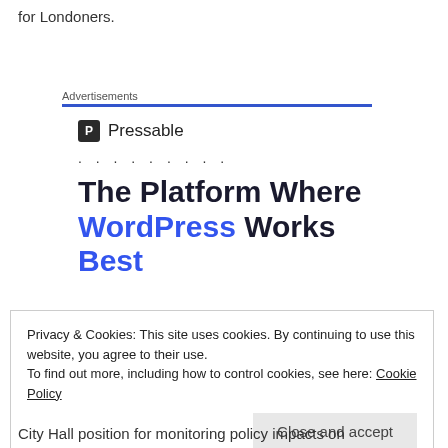for Londoners.
Advertisements
[Figure (logo): Pressable logo with P icon and brand name, followed by dotted line]
The Platform Where WordPress Works Best
Privacy & Cookies: This site uses cookies. By continuing to use this website, you agree to their use.
To find out more, including how to control cookies, see here: Cookie Policy
[Close and accept button]
City Hall position for monitoring policy impacts on